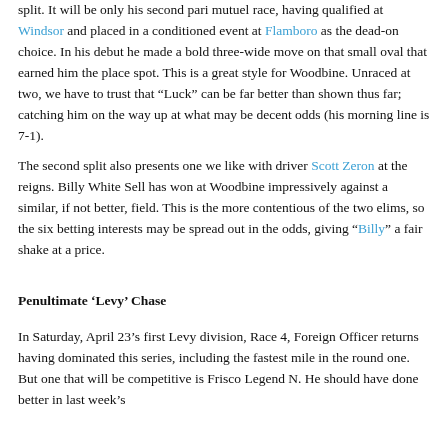split. It will be only his second pari mutuel race, having qualified at Windsor and placed in a conditioned event at Flamboro as the dead-on choice. In his debut he made a bold three-wide move on that small oval that earned him the place spot. This is a great style for Woodbine. Unraced at two, we have to trust that “Luck” can be far better than shown thus far; catching him on the way up at what may be decent odds (his morning line is 7-1).
The second split also presents one we like with driver Scott Zeron at the reigns. Billy White Sell has won at Woodbine impressively against a similar, if not better, field. This is the more contentious of the two elims, so the six betting interests may be spread out in the odds, giving “Billy” a fair shake at a price.
Penultimate ‘Levy’ Chase
In Saturday, April 23’s first Levy division, Race 4, Foreign Officer returns having dominated this series, including the fastest mile in the round one. But one that will be competitive is Frisco Legend N. He should have done better in last week’s